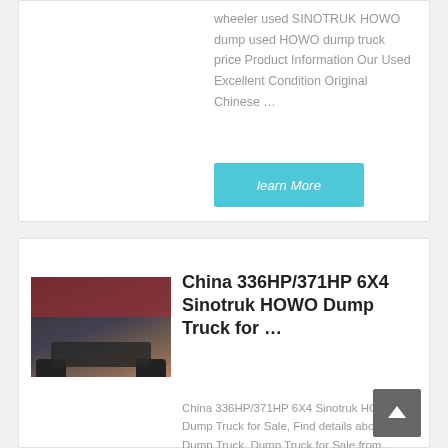wheeler used SINOTRUK HOWO dump used HOWO dump truck price Product Information Our Used Excellent Condition Original Chinese …
learn More
[Figure (photo): Interior view of a truck cab dashboard with trucks visible through the windshield in the background]
China 336HP/371HP 6X4 Sinotruk HOWO Dump Truck for …
China 336HP/371HP 6X4 Sinotruk HOWO Dump Truck for Sale, Find details about China Dump Truck, Dump Truck for Sale from…